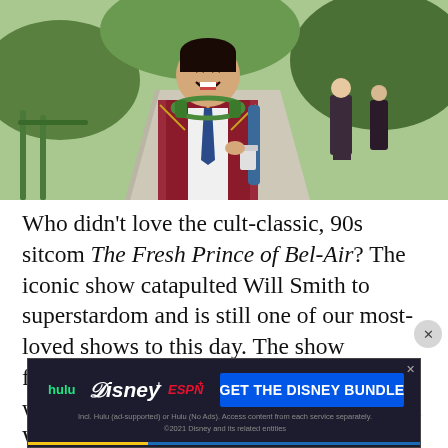[Figure (photo): A young man in a maroon blazer with gold trim, wearing green headphones around his neck and carrying a blue backpack, laughing outdoors on a school campus walkway. Two girls in school uniforms walk in the background.]
Who didn't love the cult-classic, 90s sitcom The Fresh Prince of Bel-Air? The iconic show catapulted Will Smith to superstardom and is still one of our most-loved shows to this day. The show followed a fictionalized version of Will who moved from a rough neighborhood in West Philly to the glamorous climes of Bel-Air. While the original brought us many laughs,
[Figure (advertisement): Disney Bundle advertisement showing Hulu, Disney+, and ESPN+ logos with text 'GET THE DISNEY BUNDLE'. Fine print reads: Incl. Hulu (ad-supported) or Hulu (No Ads). Access content from each service separately. ©2021 Disney and its related entities]